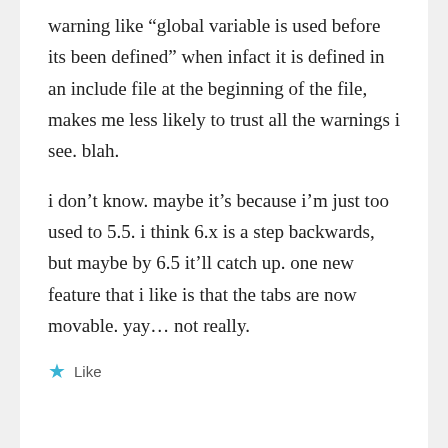warning like “global variable is used before its been defined” when infact it is defined in an include file at the beginning of the file, makes me less likely to trust all the warnings i see. blah.
i don’t know. maybe it’s because i’m just too used to 5.5. i think 6.x is a step backwards, but maybe by 6.5 it’ll catch up. one new feature that i like is that the tabs are now movable. yay… not really.
★ Like